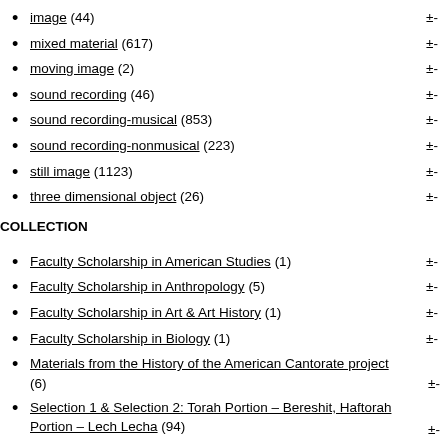image (44) ±-
mixed material (617) ±-
moving image (2) ±-
sound recording (46) ±-
sound recording-musical (853) ±-
sound recording-nonmusical (223) ±-
still image (1123) ±-
three dimensional object (26) ±-
COLLECTION
Faculty Scholarship in American Studies (1) ±-
Faculty Scholarship in Anthropology (5) ±-
Faculty Scholarship in Art & Art History (1) ±-
Faculty Scholarship in Biology (1) ±-
Materials from the History of the American Cantorate project (6) ±-
Selection 1 & Selection 2: Torah Portion – Bereshit, Haftorah Portion – Lech Lecha (94) ±-